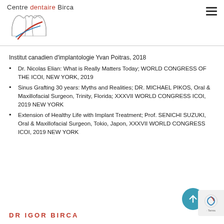Centre dentaire Birca
Institut canadien d’implantologie Yvan Poitras, 2018
Dr. Nicolas Elian: What is Really Matters Today; WORLD CONGRESS OF THE ICOI, NEW YORK, 2019
Sinus Grafting 30 years: Myths and Realities; DR. MICHAEL PIKOS, Oral & Maxillofacial Surgeon, Trinity, Florida; XXXVII WORLD CONGRESS ICOI, 2019 NEW YORK
Extension of Healthy Life with Implant Treatment; Prof. SENICHI SUZUKI, Oral & Maxillofacial Surgeon, Tokio, Japon, XXXVII WORLD CONGRESS ICOI, 2019 NEW YORK
DR IGOR BIRCA